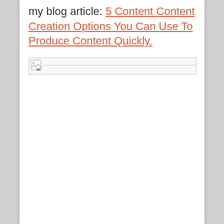my blog article: 5 Content Content Creation Options You Can Use To Produce Content Quickly.
[Figure (photo): Broken/missing image placeholder with small image icon in top-left corner]